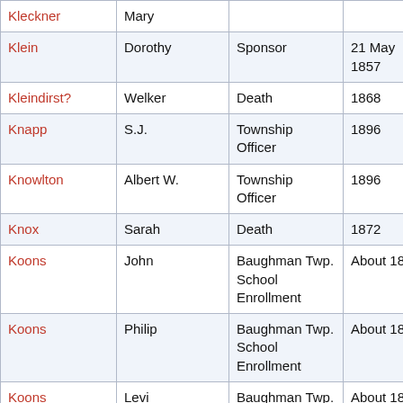| Kleckner | Mary |  |  | 1 |
| Klein | Dorothy | Sponsor | 21 May 1857 | 2 |
| Kleindirst? | Welker | Death | 1868 | 1 |
| Knapp | S.J. | Township Officer | 1896 | 39 |
| Knowlton | Albert W. | Township Officer | 1896 | 39 |
| Knox | Sarah | Death | 1872 | 26 |
| Koons | John | Baughman Twp. School Enrollment | About 1855 | 17 |
| Koons | Philip | Baughman Twp. School Enrollment | About 1855 | 17 |
| Koons | Levi | Baughman Twp. School Enrollment | About 1855 | 17 |